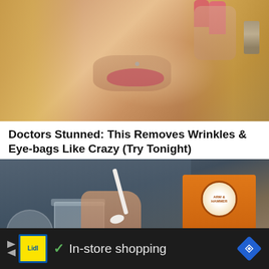[Figure (photo): Close-up photo of a blonde woman's face touching her temple with pink-painted fingernails, wearing dangling earrings, with a nose piercing, mouth slightly open]
Doctors Stunned: This Removes Wrinkles & Eye-bags Like Crazy (Try Tonight)
Trending New Finds
[Figure (photo): Person in blue shirt holding an orange Arm & Hammer Pure Baking Soda box with one hand and using a white spoon to scoop powder from a glass jar with the other hand]
✓ In-store shopping